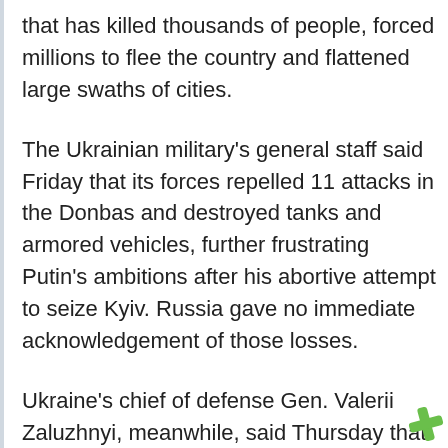that has killed thousands of people, forced millions to flee the country and flattened large swaths of cities.
The Ukrainian military's general staff said Friday that its forces repelled 11 attacks in the Donbas and destroyed tanks and armored vehicles, further frustrating Putin's ambitions after his abortive attempt to seize Kyiv. Russia gave no immediate acknowledgement of those losses.
Ukraine's chief of defense Gen. Valerii Zaluzhnyi, meanwhile, said Thursday that a counteroffensive could begin to push Russian forces away from Kharkiv and Izyum — two cities key to the Russian campaign in the Donbas, where Moscow-backed separatists